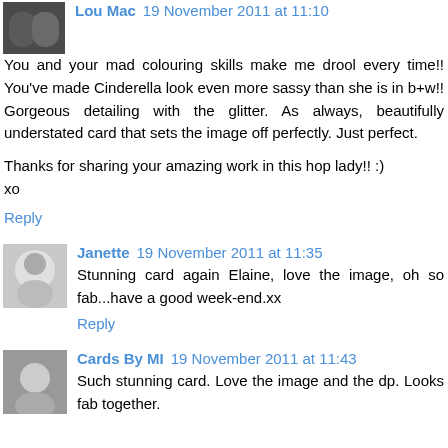Lou Mac 19 November 2011 at 11:10
You and your mad colouring skills make me drool every time!! You've made Cinderella look even more sassy than she is in b+w!! Gorgeous detailing with the glitter. As always, beautifully understated card that sets the image off perfectly. Just perfect.

Thanks for sharing your amazing work in this hop lady!! :)
xo
Reply
Janette 19 November 2011 at 11:35
Stunning card again Elaine, love the image, oh so fab...have a good week-end.xx
Reply
Cards By MI 19 November 2011 at 11:43
Such stunning card. Love the image and the dp. Looks fab together.